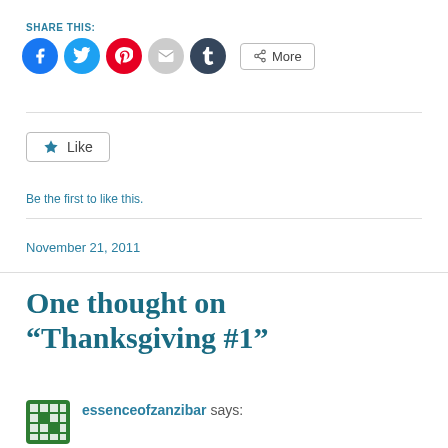SHARE THIS:
[Figure (infographic): Social sharing buttons: Facebook (blue circle), Twitter (cyan circle), Pinterest (red circle), Email (grey circle), Tumblr (dark circle), More button with share icon]
[Figure (infographic): Like button with star icon]
Be the first to like this.
November 21, 2011
One thought on “Thanksgiving #1”
essenceofzanzibar says: